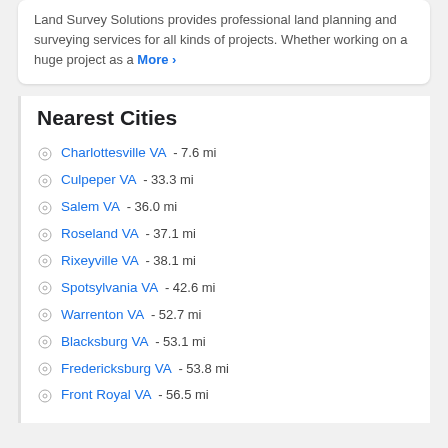Land Survey Solutions provides professional land planning and surveying services for all kinds of projects. Whether working on a huge project as a More ›
Nearest Cities
Charlottesville VA - 7.6 mi
Culpeper VA - 33.3 mi
Salem VA - 36.0 mi
Roseland VA - 37.1 mi
Rixeyville VA - 38.1 mi
Spotsylvania VA - 42.6 mi
Warrenton VA - 52.7 mi
Blacksburg VA - 53.1 mi
Fredericksburg VA - 53.8 mi
Front Royal VA - 56.5 mi